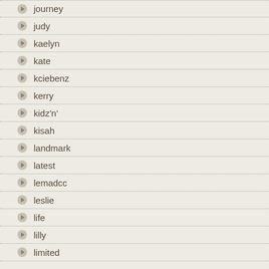journey
judy
kaelyn
kate
kciebenz
kerry
kidz'n'
kisah
landmark
latest
lemadcc
leslie
life
lilly
limited